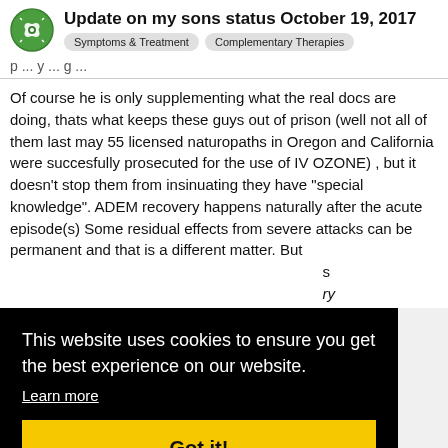Update on my sons status October 19, 2017 | Symptoms & Treatment | Complementary Therapies
p ... y ... g ...
Of course he is only supplementing what the real docs are doing, thats what keeps these guys out of prison (well not all of them last may 55 licensed naturopaths in Oregon and California were succesfully prosecuted for the use of IV OZONE) , but it doesn’t stop them from insinuating they have “special knowledge”. ADEM recovery happens naturally after the acute episode(s) Some residual effects from severe attacks can be permanent and that is a different matter. But ... s ... ry ... its ... ffect, ... ...
This website uses cookies to ensure you get the best experience on our website.
Learn more
Got it!
him, a ma that really cares.